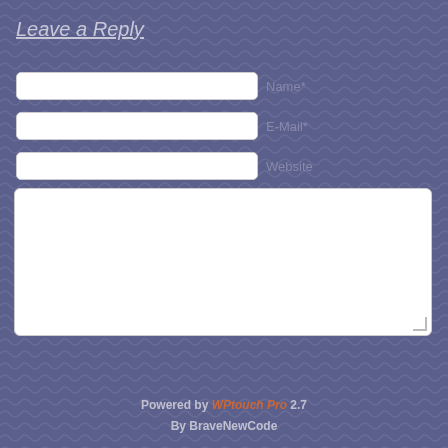Leave a Reply
Name*
E-Mail*
Website
Publish
Mobile Theme ON OFF
Powered by WPtouch Pro 2.7 By BraveNewCode